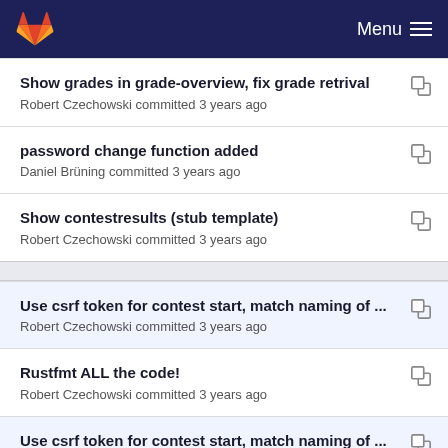GitLab Menu
Show grades in grade-overview, fix grade retrival
Robert Czechowski committed 3 years ago
password change function added
Daniel Brüning committed 3 years ago
Show contestresults (stub template)
Robert Czechowski committed 3 years ago
Use csrf token for contest start, match naming of ...
Robert Czechowski committed 3 years ago
Rustfmt ALL the code!
Robert Czechowski committed 3 years ago
Use csrf token for contest start, match naming of ...
Robert Czechowski committed 3 years ago
Check for login or open contest before allowing to...
Robert Czechowski committed 2 years ago